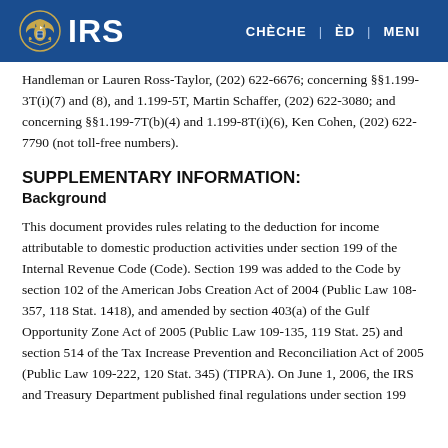IRS | CHÈCHE | ÈD | MENI
Handleman or Lauren Ross-Taylor, (202) 622-6676; concerning §§1.199-3T(i)(7) and (8), and 1.199-5T, Martin Schaffer, (202) 622-3080; and concerning §§1.199-7T(b)(4) and 1.199-8T(i)(6), Ken Cohen, (202) 622-7790 (not toll-free numbers).
SUPPLEMENTARY INFORMATION:
Background
This document provides rules relating to the deduction for income attributable to domestic production activities under section 199 of the Internal Revenue Code (Code). Section 199 was added to the Code by section 102 of the American Jobs Creation Act of 2004 (Public Law 108-357, 118 Stat. 1418), and amended by section 403(a) of the Gulf Opportunity Zone Act of 2005 (Public Law 109-135, 119 Stat. 25) and section 514 of the Tax Increase Prevention and Reconciliation Act of 2005 (Public Law 109-222, 120 Stat. 345) (TIPRA). On June 1, 2006, the IRS and Treasury Department published final regulations under section 199